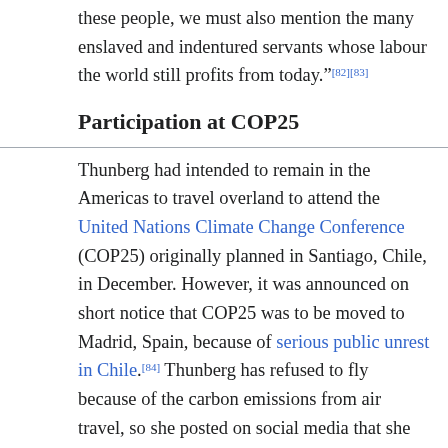these people, we must also mention the many enslaved and indentured servants whose labour the world still profits from today."[82][83]
Participation at COP25
Thunberg had intended to remain in the Americas to travel overland to attend the United Nations Climate Change Conference (COP25) originally planned in Santiago, Chile, in December. However, it was announced on short notice that COP25 was to be moved to Madrid, Spain, because of serious public unrest in Chile.[84] Thunberg has refused to fly because of the carbon emissions from air travel, so she posted on social media that she needed a ride across the Atlantic Ocean. Riley Whitelum and his wife, Elayna Carausu, two Australians who had been sailing around the world aboard their 48-foot (15 m) catamaran La Vagabonde, offered to take her. So on